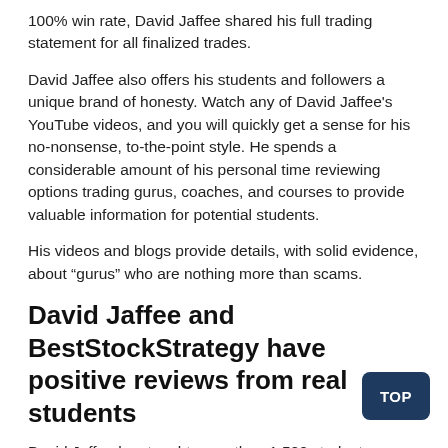100% win rate, David Jaffee shared his full trading statement for all finalized trades.
David Jaffee also offers his students and followers a unique brand of honesty. Watch any of David Jaffee's YouTube videos, and you will quickly get a sense for his no-nonsense, to-the-point style. He spends a considerable amount of his personal time reviewing options trading gurus, coaches, and courses to provide valuable information for potential students.
His videos and blogs provide details, with solid evidence, about “gurus” who are nothing more than scams.
David Jaffee and BestStockStrategy have positive reviews from real students
David Jaffee has taught more than 1,500 students through his online options trading course and various outlets. Beginner traders have found success by implementing David Jaffee’s